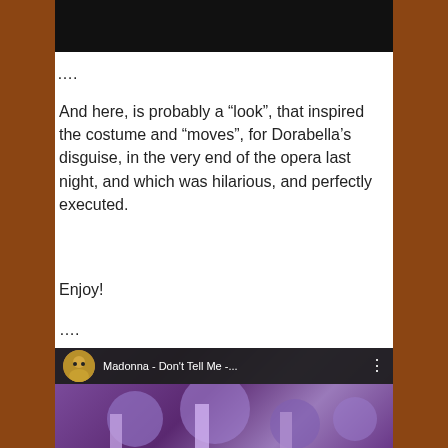[Figure (screenshot): Top portion of a video player showing a dark/black screen, cropped at the top of the page]
….
And here, is probably a “look”, that inspired the costume and “moves”, for Dorabella’s disguise, in the very end of the opera last night, and which was hilarious, and perfectly executed.
Enjoy!
….
[Figure (screenshot): YouTube video thumbnail showing Madonna - Don't Tell Me -... with avatar icon and three-dot menu, purple-toned performance scene below]